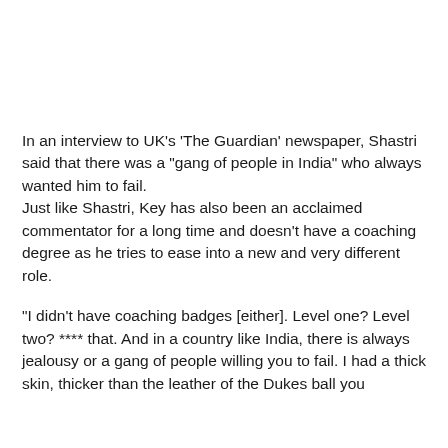In an interview to UK's ‘The Guardian’ newspaper, Shastri said that there was a “gang of people in India” who always wanted him to fail.
Just like Shastri, Key has also been an acclaimed commentator for a long time and doesn’t have a coaching degree as he tries to ease into a new and very different role.
“I didn’t have coaching badges [either]. Level one? Level two? **** that. And in a country like India, there is always jealousy or a gang of people willing you to fail. I had a thick skin, thicker than the leather of the Dukes ball you